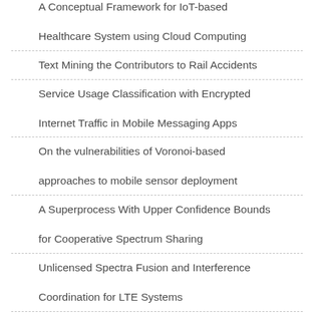A Conceptual Framework for IoT-based Healthcare System using Cloud Computing
Text Mining the Contributors to Rail Accidents
Service Usage Classification with Encrypted Internet Traffic in Mobile Messaging Apps
On the vulnerabilities of Voronoi-based approaches to mobile sensor deployment
A Superprocess With Upper Confidence Bounds for Cooperative Spectrum Sharing
Unlicensed Spectra Fusion and Interference Coordination for LTE Systems
Congestion Detection and Propagation in Urban